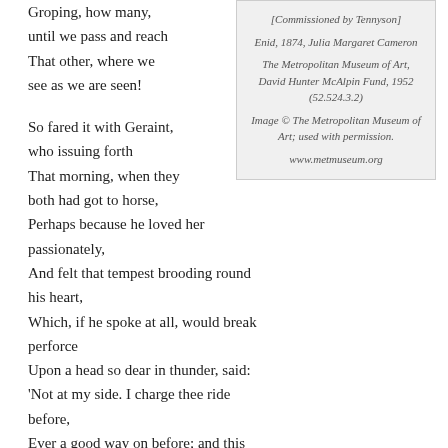Groping, how many,
until we pass and reach
That other, where we
see as we are seen!

So fared it with Geraint,
who issuing forth
That morning, when they
both had got to horse,
Perhaps because he loved her passionately,
And felt that tempest brooding round his heart,
Which, if he spoke at all, would break perforce
Upon a head so dear in thunder, said:
'Not at my side. I charge thee ride before,
Ever a good way on before; and this
I charge thee, on thy duty as a wife,
Whatever happens, not to speak to me,
No, not a word!' and Enid was aghast;
And forth they rode, but scarce three paces on,
[Commissioned by Tennyson]
Enid, 1874, Julia Margaret Cameron
The Metropolitan Museum of Art, David Hunter McAlpin Fund, 1952 (52.524.3.2)
Image © The Metropolitan Museum of Art; used with permission.
www.metmuseum.org